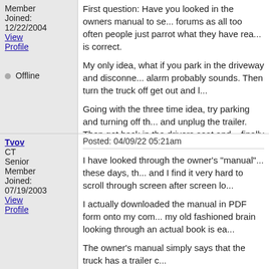Member
Joined: 12/22/2004
View Profile
Offline
First question: Have you looked in the owners manual to see... forums as all too often people just parrot what they have read... is correct.

My only idea, what if you park in the driveway and disconne... alarm probably sounds. Then turn the truck off get out and l...

Going with the three time idea, try parking and turning off th... and unplug the trailer. Then get back in the drivers seat and... finally ending with it off after the third time. Remove the key.

Good luck with it. I guarantee you Ford has this figured out y...
2001 Suburban 4x4. 6.0L, 4.10 3/4 ton
2005 Jayco Jay Flight 27BH
1986 Coleman Columbia Popup.
Tvov
CT
Senior Member
Joined: 07/19/2003
View Profile
Posted: 04/09/22 05:21am
I have looked through the owner's "manual"... these days, th... and I find it very hard to scroll through screen after screen lo...

I actually downloaded the manual in PDF form onto my com... my old fashioned brain looking through an actual book is ea...

The owner's manual simply says that the truck has a trailer c...